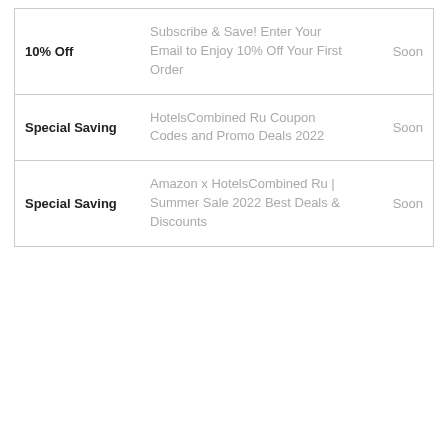| Type | Description | When |
| --- | --- | --- |
| 10% Off | Subscribe & Save! Enter Your Email to Enjoy 10% Off Your First Order | Soon |
| Special Saving | HotelsCombined Ru Coupon Codes and Promo Deals 2022 | Soon |
| Special Saving | Amazon x HotelsCombined Ru | Summer Sale 2022 Best Deals & Discounts | Soon |